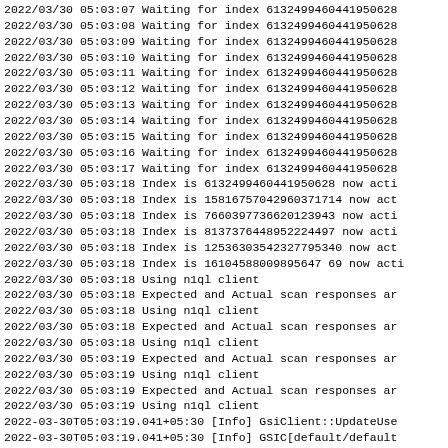2022/03/30 05:03:07 Waiting for index 6132499460441950628
2022/03/30 05:03:08 Waiting for index 6132499460441950628
2022/03/30 05:03:09 Waiting for index 6132499460441950628
2022/03/30 05:03:10 Waiting for index 6132499460441950628
2022/03/30 05:03:11 Waiting for index 6132499460441950628
2022/03/30 05:03:12 Waiting for index 6132499460441950628
2022/03/30 05:03:13 Waiting for index 6132499460441950628
2022/03/30 05:03:14 Waiting for index 6132499460441950628
2022/03/30 05:03:15 Waiting for index 6132499460441950628
2022/03/30 05:03:16 Waiting for index 6132499460441950628
2022/03/30 05:03:17 Waiting for index 6132499460441950628
2022/03/30 05:03:18 Index is 6132499460441950628 now acti
2022/03/30 05:03:18 Index is 1581675704296037171 4 now act
2022/03/30 05:03:18 Index is 7660397736620123943 now acti
2022/03/30 05:03:18 Index is 8137376448952224497 now acti
2022/03/30 05:03:18 Index is 12536303542327795340 now act
2022/03/30 05:03:18 Index is 16104588009895647 69 now acti
2022/03/30 05:03:18 Using n1ql client
2022/03/30 05:03:18 Expected and Actual scan responses ar
2022/03/30 05:03:18 Using n1ql client
2022/03/30 05:03:18 Expected and Actual scan responses ar
2022/03/30 05:03:18 Using n1ql client
2022/03/30 05:03:19 Expected and Actual scan responses ar
2022/03/30 05:03:19 Using n1ql client
2022/03/30 05:03:19 Expected and Actual scan responses ar
2022/03/30 05:03:19 Using n1ql client
2022-03-30T05:03:19.041+05:30 [Info] GsiClient::UpdateUse
2022-03-30T05:03:19.041+05:30 [Info] GSIC[default/default
2022/03/30 05:03:19 Expected and Actual scan responses ar
2022/03/30 05:03:19 Using n1ql client
2022/03/30 05:03:19 Expected and Actual scan responses ar